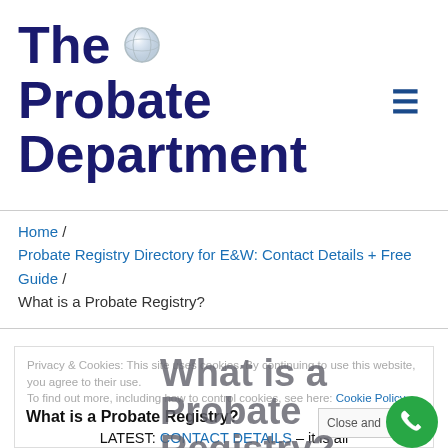The Probate Department
Home / Probate Registry Directory for E&W: Contact Details + Free Guide / What is a Probate Registry?
What is a Probate Registry?
Privacy & Cookies: This site uses cookies. By continuing to use this website, you agree to their use. To find out more, including how to control cookies, see here: Cookie Policy
What is a Probate Registry?
LATEST: CONTACT DETAILS – it is all